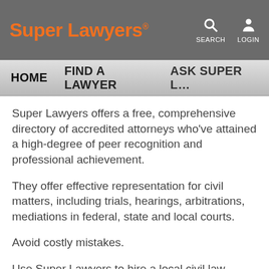Super Lawyers® SEARCH LOGIN
HOME   FIND A LAWYER   ASK SUPER L…
Super Lawyers offers a free, comprehensive directory of accredited attorneys who've attained a high-degree of peer recognition and professional achievement.
They offer effective representation for civil matters, including trials, hearings, arbitrations, mediations in federal, state and local courts.
Avoid costly mistakes.
Use Super Lawyers to hire a local civil law attorney today.
Are you searching for a top civil litigation lawyer in Westborough, Massachusetts?
The …